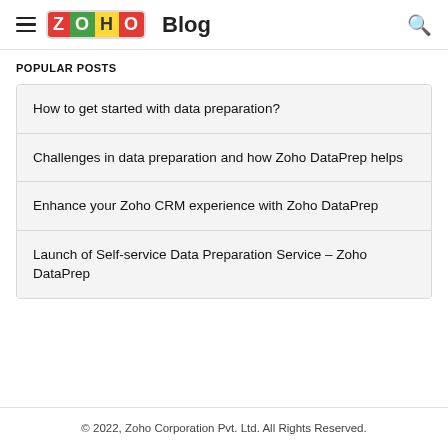Zoho Blog
POPULAR POSTS
How to get started with data preparation?
Challenges in data preparation and how Zoho DataPrep helps
Enhance your Zoho CRM experience with Zoho DataPrep
Launch of Self-service Data Preparation Service – Zoho DataPrep
© 2022, Zoho Corporation Pvt. Ltd. All Rights Reserved.